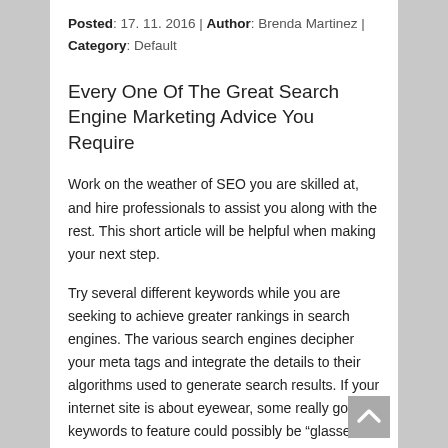Posted: 17. 11. 2016 | Author: Brenda Martinez | Category: Default
Every One Of The Great Search Engine Marketing Advice You Require
Work on the weather of SEO you are skilled at, and hire professionals to assist you along with the rest. This short article will be helpful when making your next step.
Try several different keywords while you are seeking to achieve greater rankings in search engines. The various search engines decipher your meta tags and integrate the details to their algorithms used to generate search results. If your internet site is about eyewear, some really good keywords to feature could possibly be “glasses,” “eye glasses,” and “glases.”
Check out the competitions’ HTML code. This will